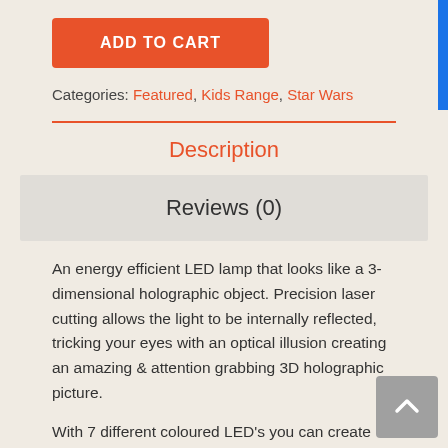ADD TO CART
Categories: Featured, Kids Range, Star Wars
Description
Reviews (0)
An energy efficient LED lamp that looks like a 3-dimensional holographic object. Precision laser cutting allows the light to be internally reflected, tricking your eyes with an optical illusion creating an amazing & attention grabbing 3D holographic picture.
With 7 different coloured LED's you can create different moods in any room. Making you feel relaxed & calm, energetic, meditative or just happy!
The pattern can be made to be continuously cycling or maintain a